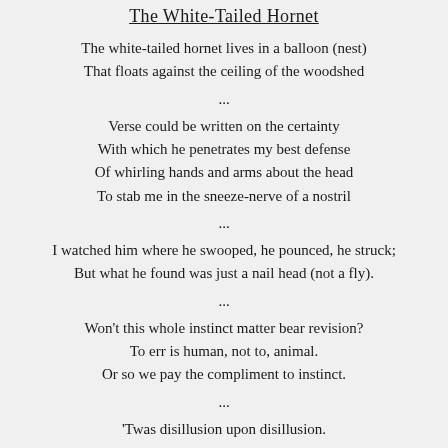The White-Tailed Hornet
The white-tailed hornet lives in a balloon (nest)
That floats against the ceiling of the woodshed
...
Verse could be written on the certainty
With which he penetrates my best defense
Of whirling hands and arms about the head
To stab me in the sneeze-nerve of a nostril
...
I watched him where he swooped, he pounced, he struck;
But what he found was just a nail head (not a fly).
...
Won't this whole instinct matter bear revision?
To err is human, not to, animal.
Or so we pay the compliment to instinct.
...
'Twas disillusion upon disillusion.